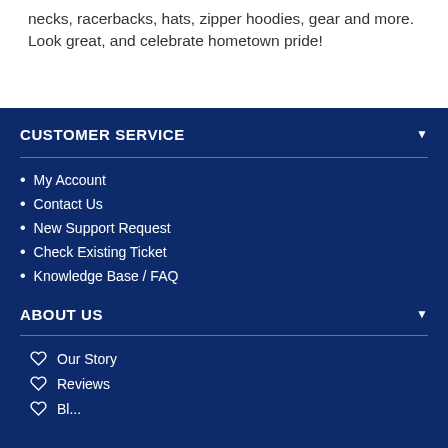necks, racerbacks, hats, zipper hoodies, gear and more. Look great, and celebrate hometown pride!
CUSTOMER SERVICE
My Account
Contact Us
New Support Request
Check Existing Ticket
Knowledge Base / FAQ
ABOUT US
Our Story
Reviews
Bl...